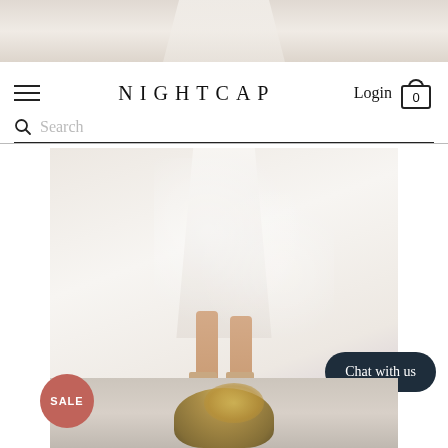[Figure (photo): Top strip showing bottom portion of a white lace dress on a model against a light background]
NIGHTCAP  Login  0
Search
[Figure (photo): Product photo showing lower half of white lace midi gown on model wearing nude strappy heels against white background]
Wisteria Midi Gown
$ 195.00
Chat with us
SALE
[Figure (photo): Partial product photo at bottom showing top of model's head with blonde highlighted hair]